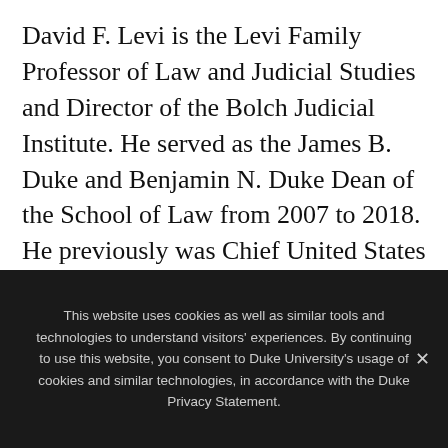David F. Levi is the Levi Family Professor of Law and Judicial Studies and Director of the Bolch Judicial Institute. He served as the James B. Duke and Benjamin N. Duke Dean of the School of Law from 2007 to 2018. He previously was Chief United States District Judge for the Eastern District of California, with chambers in Sacramento. He has served as chair of two Judicial Conference committees by appointment of the Chief Justice. He was
This website uses cookies as well as similar tools and technologies to understand visitors' experiences. By continuing to use this website, you consent to Duke University's usage of cookies and similar technologies, in accordance with the Duke Privacy Statement.